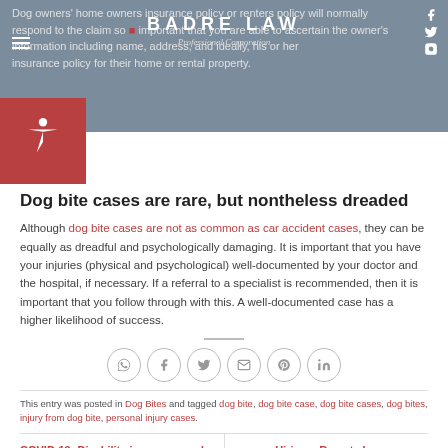Dog owners' home owners insurance policy or renters policy will normally respond to the claim so it is important that you are able to ascertain the owner's information including name, address, and ideally, his or her insurance policy for their home or rental property.
[Figure (logo): Badre Law Professional Corporation logo with firm name in white bold letters on grey background]
Dog bite cases are rare, but nontheless dreaded
Although dog bite cases are not as common as car accident cases, they can be equally as dreadful and psychologically damaging. It is important that you have your injuries (physical and psychological) well-documented by your doctor and the hospital, if necessary. If a referral to a specialist is recommended, then it is important that you follow through with this. A well-documented case has a higher likelihood of success.
[Figure (infographic): Social sharing icons row: WhatsApp, Facebook, Twitter, Email, Pinterest, LinkedIn - circular outlined icons]
This entry was posted in Dog Bites and tagged dog bite, dog bite case, dog bite cases, dog bites, injury from dog bite, personal injury cases.
COVID-19: Disability insurance and mental health
Hiring a Remote Lawyer vs. a Traditional Lawyer